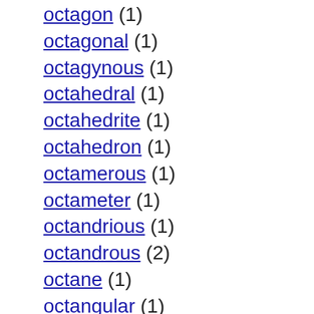octagon (1)
octagonal (1)
octagynous (1)
octahedral (1)
octahedrite (1)
octahedron (1)
octamerous (1)
octameter (1)
octandrious (1)
octandrous (2)
octane (1)
octangular (1)
octant (1)
octarchy (1)
octave (1)
Octavia (1)
Octavius (1)
octavo (1)
octavus (1)
octavusdecimus (1)
octennial (1)